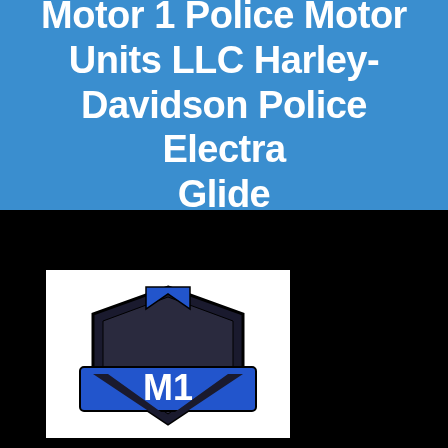Motor 1 Police Motor Units LLC Harley-Davidson Police Electra Glide
[Figure (logo): Motor 1 Police Motor Units LLC logo — a police badge shield shape in black and dark blue with 'M1' text in white on a blue banner across the center]